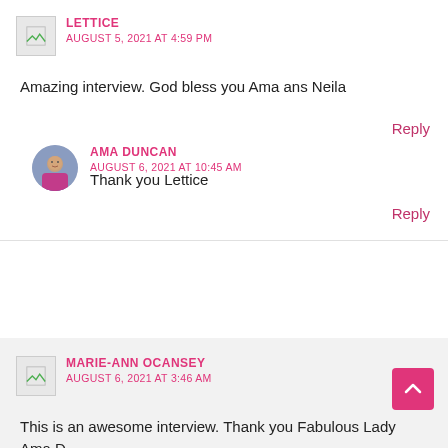LETTICE
AUGUST 5, 2021 AT 4:59 PM
Amazing interview. God bless you Ama ans Neila
Reply
AMA DUNCAN
AUGUST 6, 2021 AT 10:45 AM
Thank you Lettice
Reply
MARIE-ANN OCANSEY
AUGUST 6, 2021 AT 3:46 AM
This is an awesome interview. Thank you Fabulous Lady Ama D.